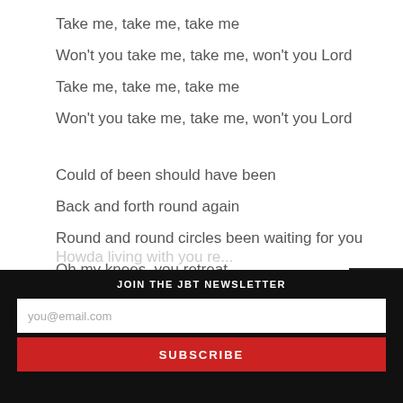Take me, take me, take me
Won't you take me, take me, won't you Lord
Take me, take me, take me
Won't you take me, take me, won't you Lord
Could of been should have been
Back and forth round again
Round and round circles been waiting for you
Oh my knees, you retreat
Now I'm praying for mercy mercy mercy
JOIN THE JBT NEWSLETTER
you@email.com
SUBSCRIBE